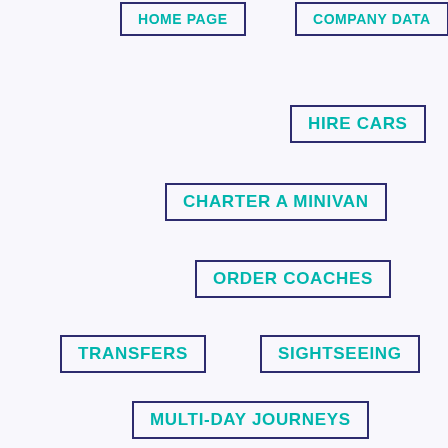[Figure (screenshot): Navigation menu with labeled buttons: HOME PAGE, COMPANY DATA, HIRE CARS, CHARTER A MINIVAN, ORDER COACHES, TRANSFERS, SIGHTSEEING, MULTI-DAY JOURNEYS, SHORT NOTICE HELP]
HOME PAGE
COMPANY DATA
HIRE CARS
CHARTER A MINIVAN
ORDER COACHES
TRANSFERS
SIGHTSEEING
MULTI-DAY JOURNEYS
SHORT NOTICE HELP